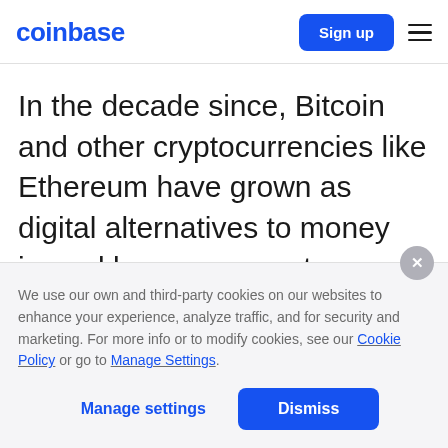coinbase — Sign up
In the decade since, Bitcoin and other cryptocurrencies like Ethereum have grown as digital alternatives to money issued by governments.
We use our own and third-party cookies on our websites to enhance your experience, analyze traffic, and for security and marketing. For more info or to modify cookies, see our Cookie Policy or go to Manage Settings.
Manage settings  Dismiss